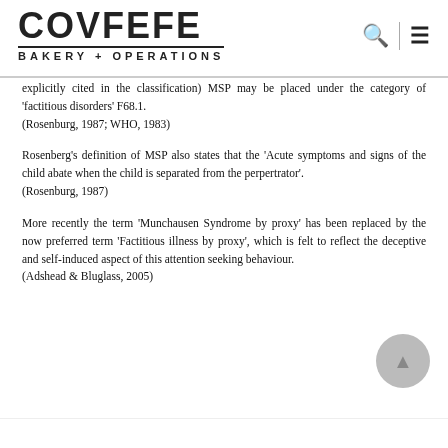COVFEFE BAKERY + OPERATIONS
explicitly cited in the classification) MSP may be placed under the category of 'factitious disorders' F68.1.
(Rosenburg, 1987; WHO, 1983)
Rosenberg's definition of MSP also states that the 'Acute symptoms and signs of the child abate when the child is separated from the perpertrator'.
(Rosenburg, 1987)
More recently the term 'Munchausen Syndrome by proxy' has been replaced by the now preferred term 'Factitious illness by proxy', which is felt to reflect the deceptive and self-induced aspect of this attention seeking behaviour.
(Adshead & Bluglass, 2005)